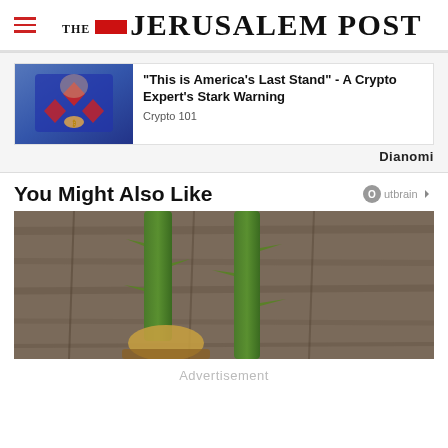THE JERUSALEM POST
[Figure (photo): Person in a red and black diamond pattern sweater holding a coin, likely Bitcoin, against a blue background. Dianomi advertisement card.]
"This is America's Last Stand" - A Crypto Expert's Stark Warning
Crypto 101
Dianomi
You Might Also Like
[Figure (photo): Close-up photo of thorny green rose stems on a wooden surface, viewed from above. Outbrain advertisement section.]
Advertisement